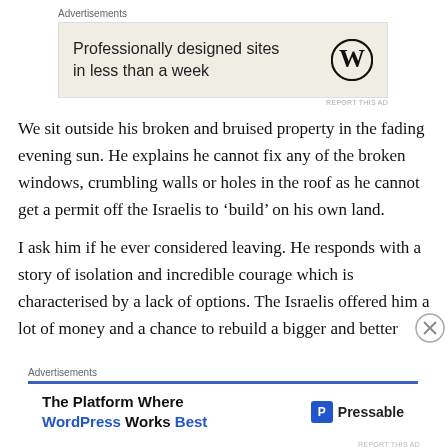Advertisements
[Figure (other): WordPress advertisement banner: 'Professionally designed sites in less than a week' with WordPress logo, on beige background]
We sit outside his broken and bruised property in the fading evening sun. He explains he cannot fix any of the broken windows, crumbling walls or holes in the roof as he cannot get a permit off the Israelis to ‘build’ on his own land.
I ask him if he ever considered leaving. He responds with a story of isolation and incredible courage which is characterised by a lack of options. The Israelis offered him a lot of money and a chance to rebuild a bigger and better
Advertisements
[Figure (other): Pressable advertisement banner: 'The Platform Where WordPress Works Best' with Pressable logo]